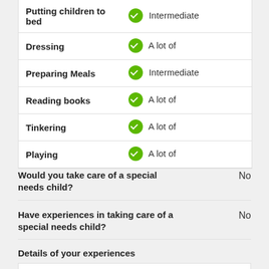| Activity | Level |
| --- | --- |
| Putting children to bed | Intermediate |
| Dressing | A lot of |
| Preparing Meals | Intermediate |
| Reading books | A lot of |
| Tinkering | A lot of |
| Playing | A lot of |
Would you take care of a special needs child?
No
Have experiences in taking care of a special needs child?
No
Details of your experiences
Babysitter